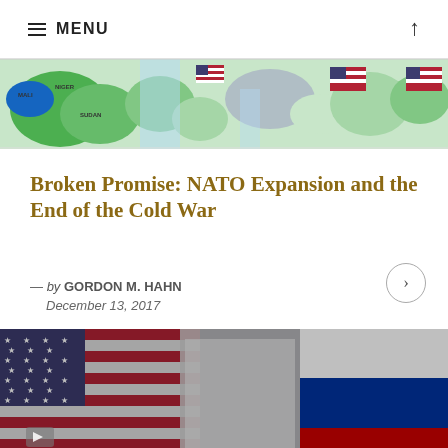MENU
[Figure (map): World map banner showing Africa, Middle East, India region with country labels (Mali, Niger, Sudan, India) and small US flag icons overlaid]
Broken Promise: NATO Expansion and the End of the Cold War
— by GORDON M. HAHN
December 13, 2017
[Figure (photo): US flag and Russian flag side by side, dramatic close-up with stars and stripes visible, dark/gritty texture overlay]